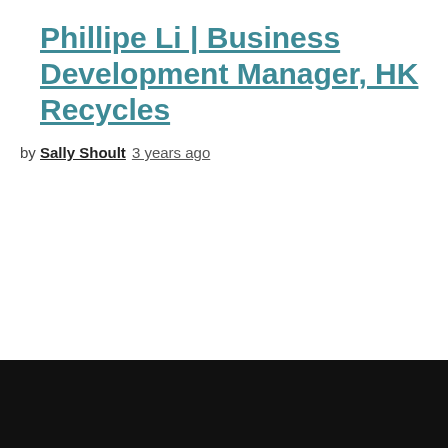Phillipe Li | Business Development Manager, HK Recycles
by Sally Shoult  3 years ago